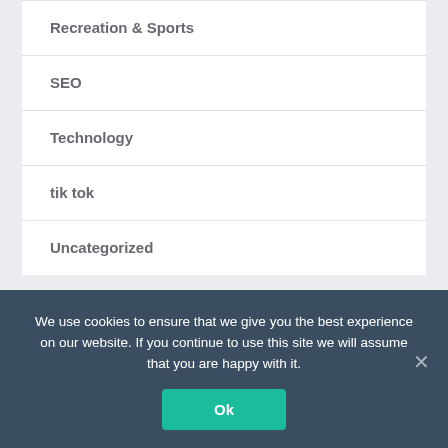Recreation & Sports
SEO
Technology
tik tok
Uncategorized
Book Reviews
We use cookies to ensure that we give you the best experience on our website. If you continue to use this site we will assume that you are happy with it.
Ok